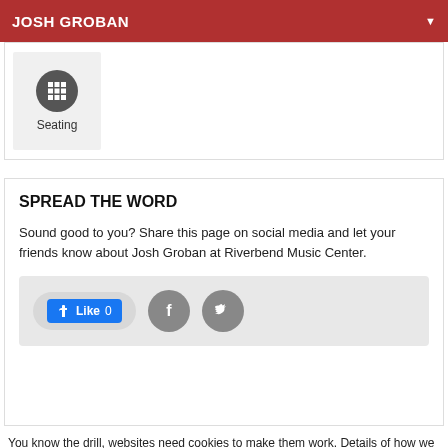JOSH GROBAN
[Figure (illustration): Seating icon — a grid/seats symbol in a dark circle above the label 'Seating', inside a light grey box]
SPREAD THE WORD
Sound good to you? Share this page on social media and let your friends know about Josh Groban at Riverbend Music Center.
[Figure (infographic): Social sharing bar with Facebook Like button (showing 0 likes), Facebook icon circle, and Twitter bird icon circle on a grey background]
You know the drill, websites need cookies to make them work. Details of how we do it here.
Got it!